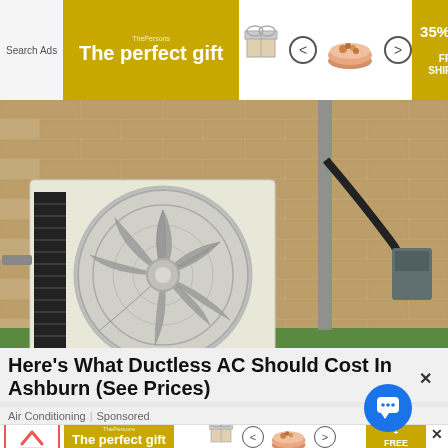[Figure (screenshot): Top advertisement banner: 'The perfect gift' with gold background, product images, navigation arrows, '35% OFF + FREE SHIPPING' badge, Read More and close buttons]
[Figure (photo): Outdoor ductless mini-split AC unit mounted on a brick wall with conduit and wiring running down the wall]
Here's What Ductless AC Should Cost In Ashburn (See Prices)
Air Conditioning | Sponsored
[Figure (screenshot): Bottom advertisement banner: up arrow button, 'The perfect gift' gold banner, product images, '35% OFF + FREE SHIPPING', chat bubble overlay with close button]